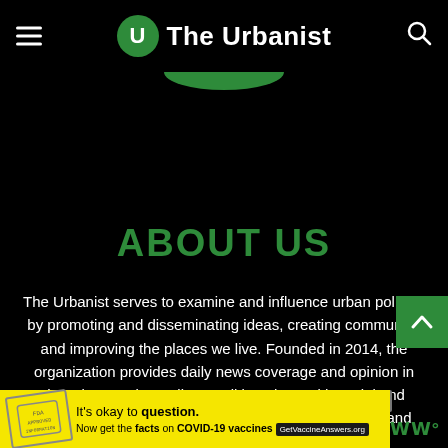The Urbanist
ABOUT US
The Urbanist serves to examine and influence urban policies by promoting and disseminating ideas, creating community, and improving the places we live. Founded in 2014, the organization provides daily news coverage and opinion in the advocacy journalism tradition along with social and educational events. The Urbanist is based in Seattle and registered as a nonprofit 501 (4) entity.
FOLLOW US
[Figure (other): Yellow advertisement banner: It's okay to question. Now get the facts on COVID-19 vaccines GetVaccineAnswers.org]